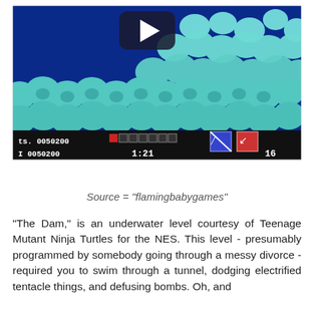[Figure (screenshot): Screenshot of the Teenage Mutant Ninja Turtles NES game showing the underwater Dam level. The screen shows rows of teal/cyan bubble-like enemies filling most of the screen against a dark blue background. A YouTube play button overlay is visible at the top center. The HUD at the bottom shows: 'ts. 0050200' with a health bar, 'I 0050200', timer '1:21', and '16' lives, along with character icons.]
Source = "flamingbabygames"
"The Dam," is an underwater level courtesy of Teenage Mutant Ninja Turtles for the NES. This level - presumably programmed by somebody going through a messy divorce - required you to swim through a tunnel, dodging electrified tentacle things, and defusing bombs. Oh, and